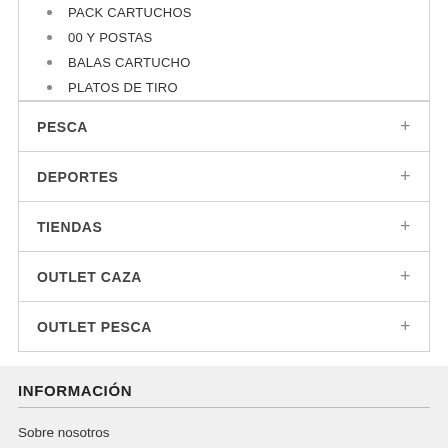PACK CARTUCHOS
00 Y POSTAS
BALAS CARTUCHO
PLATOS DE TIRO
PESCA
DEPORTES
TIENDAS
OUTLET CAZA
OUTLET PESCA
INFORMACIÓN
Sobre nosotros
Aviso legal
Política de privacidad
Términos y condiciones